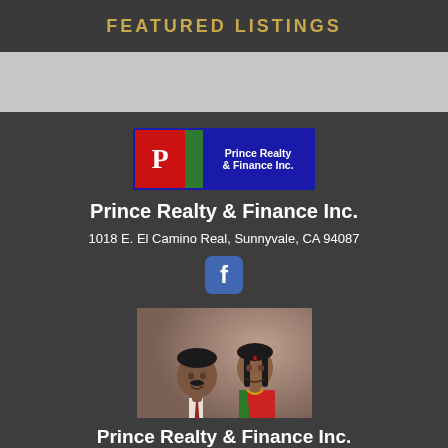FEATURED LISTINGS
[Figure (logo): Prince Realty & Finance Inc. logo with red, green, and blue sections and letter P]
Prince Realty & Finance Inc.
1018 E. El Camino Real, Sunnyvale, CA 94087
[Figure (photo): Profile photo of two people, a man and a woman, smiling]
Prince Realty & Finance Inc.